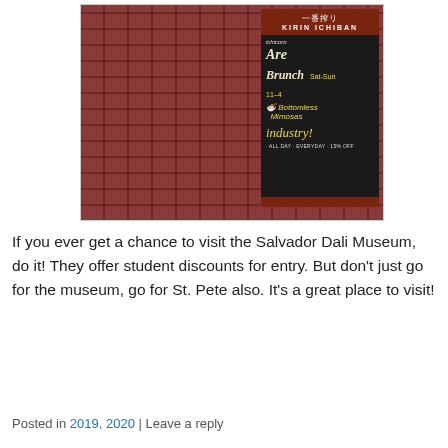[Figure (photo): Outdoor photo showing a red brick sidewalk/patio and a chalkboard sandwich sign for 'Kirin Ichiban' beer and a restaurant, advertising Brunch Sat-Sun 11-4, Bottomless Mimosas, Industry Night ALL DAY EVERYDAY 15% OFF, with Japanese text at top of the sign frame.]
If you ever get a chance to visit the Salvador Dali Museum, do it! They offer student discounts for entry. But don't just go for the museum, go for St. Pete also. It's a great place to visit!
Posted in 2019, 2020 | Leave a reply